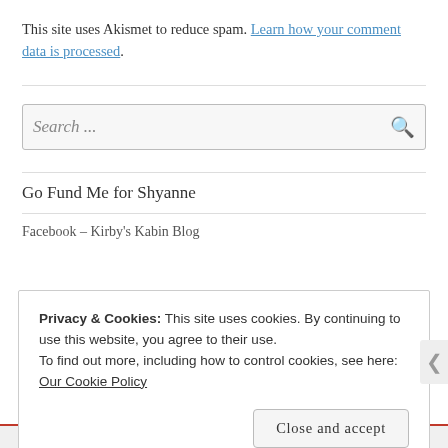This site uses Akismet to reduce spam. Learn how your comment data is processed.
Search ...
Go Fund Me for Shyanne
Facebook – Kirby's Kabin Blog
Privacy & Cookies: This site uses cookies. By continuing to use this website, you agree to their use.
To find out more, including how to control cookies, see here: Our Cookie Policy
Close and accept